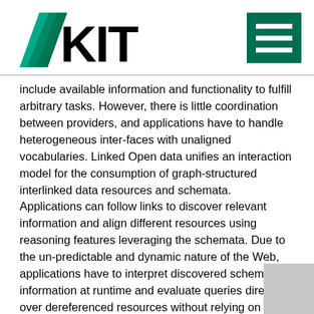KIT logo and menu icon
include available information and functionality to fulfill arbitrary tasks. However, there is little coordination between providers, and applications have to handle heterogeneous inter-faces with unaligned vocabularies. Linked Open data unifies an interaction model for the consumption of graph-structured interlinked data resources and schemata. Applications can follow links to discover relevant information and align different resources using reasoning features leveraging the schemata. Due to the un-predictable and dynamic nature of the Web, applications have to interpret discovered schema information at runtime and evaluate queries directly over dereferenced resources without relying on pre-existing index structures over the data. At the same time applications must exhibit high-performance characteristics with regard to data processing and retrieval to achieve short response times and a fluent interaction with users. In this talk we describe how we join methods for evaluating queries over interlinked resources via link tra-versal with approaches for the integration of data over interlinked schemata via reasoning. In particular, we show how declarative rule based programs can be used to specify desired dynamic interactions